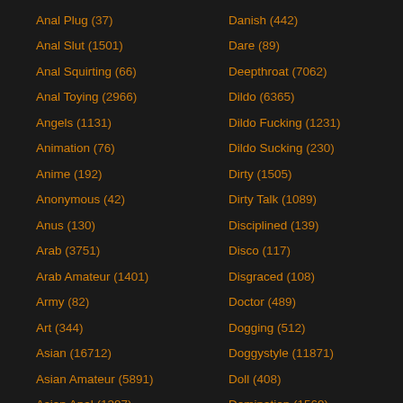Anal Plug (37)
Anal Slut (1501)
Anal Squirting (66)
Anal Toying (2966)
Angels (1131)
Animation (76)
Anime (192)
Anonymous (42)
Anus (130)
Arab (3751)
Arab Amateur (1401)
Army (82)
Art (344)
Asian (16712)
Asian Amateur (5891)
Asian Anal (1397)
Danish (442)
Dare (89)
Deepthroat (7062)
Dildo (6365)
Dildo Fucking (1231)
Dildo Sucking (230)
Dirty (1505)
Dirty Talk (1089)
Disciplined (139)
Disco (117)
Disgraced (108)
Doctor (489)
Dogging (512)
Doggystyle (11871)
Doll (408)
Domination (1569)